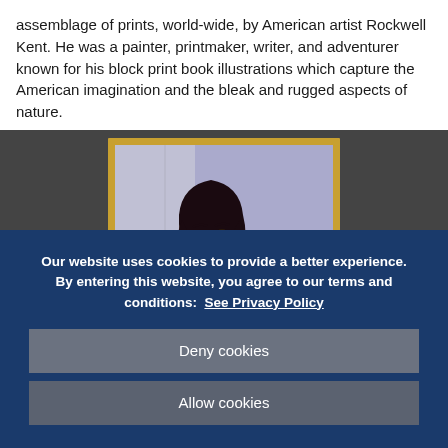assemblage of prints, world-wide, by American artist Rockwell Kent. He was a painter, printmaker, writer, and adventurer known for his block print book illustrations which capture the American imagination and the bleak and rugged aspects of nature.
[Figure (photo): Partial view of a painting showing a woman with dark hair looking slightly upward, framed in a gold frame against a lavender background, displayed on a dark wall.]
Our website uses cookies to provide a better experience. By entering this website, you agree to our terms and conditions:  See Privacy Policy
Deny cookies
Allow cookies